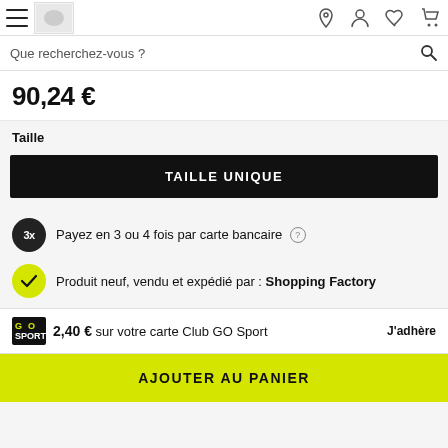Que recherchez-vous ?
90,24 €
Taille
TAILLE UNIQUE
Payez en 3 ou 4 fois par carte bancaire (?)
Produit neuf, vendu et expédié par : Shopping Factory
2,40 € sur votre carte Club GO Sport  J'adhère
AJOUTER AU PANIER